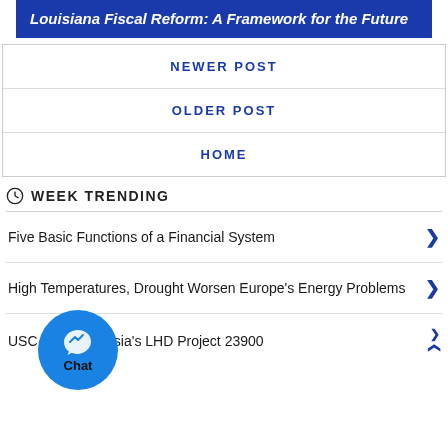Louisiana Fiscal Reform: A Framework for the Future
NEWER POST
OLDER POST
HOME
WEEK TRENDING
Five Basic Functions of a Financial System
High Temperatures, Drought Worsen Europe's Energy Problems
USC unveils Russia's LHD Project 23900
[Figure (illustration): Facebook Messenger chat bubble button with Chat label]